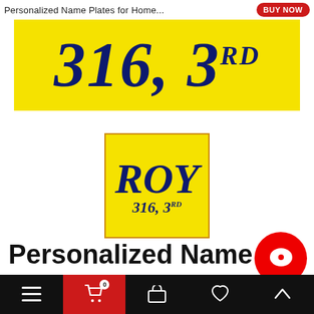Personalized Name Plates for Home...  BUY NOW
[Figure (photo): Yellow banner with dark navy italic bold script text reading '316, 3RD' with RD as superscript]
[Figure (photo): Thumbnail image with yellow background and orange border showing partial text 'ROY' and '316, 3RD' in dark navy italic script]
Personalized Name Pla...
Navigation bar with hamburger menu, cart (0), basket, heart, and up-arrow icons